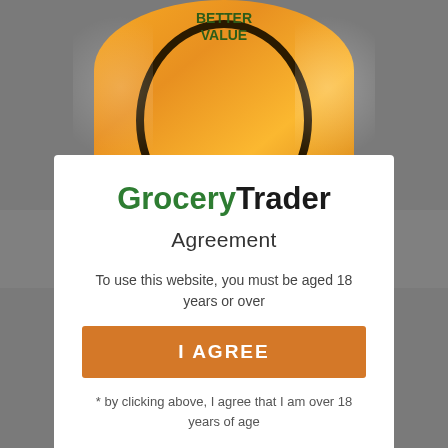[Figure (photo): Background showing an orange energy drink bottle with 'BETTER VALUE' text at the top and partial bottle bottom visible, set against a grey background]
Grocery Trader
Agreement
To use this website, you must be aged 18 years or over
I AGREE
* by clicking above, I agree that I am over 18 years of age